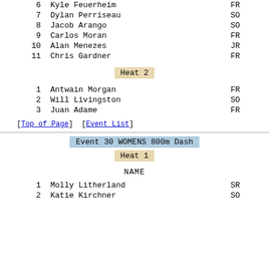| # | Name | Yr |
| --- | --- | --- |
| 6 | Kyle Feuerheim | FR |
| 7 | Dylan Perriseau | SO |
| 8 | Jacob Arango | SO |
| 9 | Carlos Moran | FR |
| 10 | Alan Menezes | JR |
| 11 | Chris Gardner | FR |
Heat 2
| # | Name | Yr |
| --- | --- | --- |
| 1 | Antwain Morgan | FR |
| 2 | Will Livingston | SO |
| 3 | Juan Adame | FR |
[Top of Page]  [Event List]
Event 30 WOMENS 800m Dash
Heat 1
NAME
| # | Name | Yr |
| --- | --- | --- |
| 1 | Molly Litherland | SR |
| 2 | Katie Kirchner | SO |